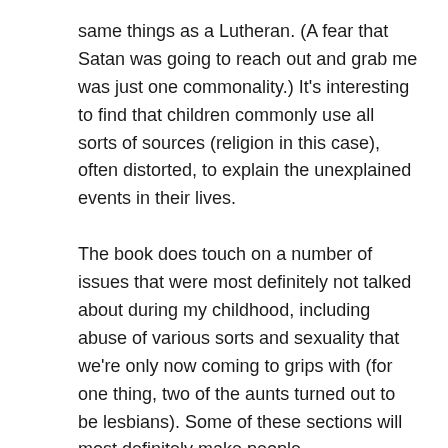same things as a Lutheran. (A fear that Satan was going to reach out and grab me was just one commonality.) It's interesting to find that children commonly use all sorts of sources (religion in this case), often distorted, to explain the unexplained events in their lives.
The book does touch on a number of issues that were most definitely not talked about during my childhood, including abuse of various sorts and sexuality that we're only now coming to grips with (for one thing, two of the aunts turned out to be lesbians). Some of these sections will most definitely make people uncomfortable, despite being told a bit tongue-in-cheek and with an eye toward a skewed version of the truth. It won't surprise many people who grew up in poorer neighborhoods that abuse was, and still is, rampant. Bridget ends up coming to terms with these negatives in her